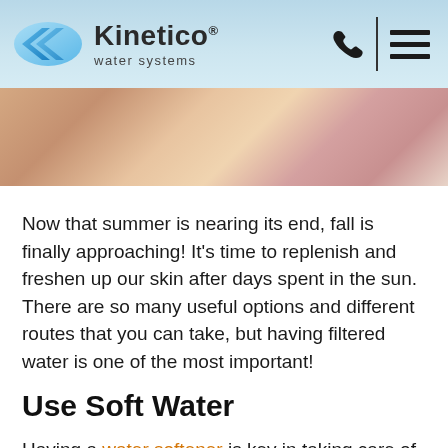Kinetico® water systems
[Figure (photo): Close-up photo of skin/fingers with warm tones, partial view at top of page]
Now that summer is nearing its end, fall is finally approaching! It's time to replenish and freshen up our skin after days spent in the sun. There are so many useful options and different routes that you can take, but having filtered water is one of the most important!
Use Soft Water
Having a water softener is key in taking care of your skin. When your water is filtered, there's no chance of it having pore-clogging bacteria in it. When you use